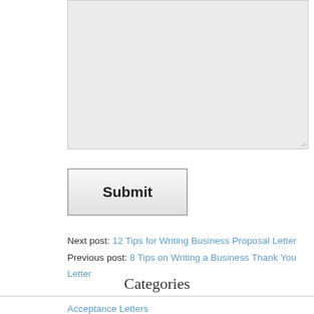[Figure (screenshot): Textarea input box with resize handle, light gray background]
Submit
Next post: 12 Tips for Writing Business Proposal Letter
Previous post: 8 Tips on Writing a Business Thank You Letter
Categories
Acceptance Letters
Acknowledgement Letters